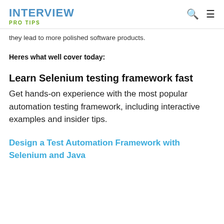INTERVIEW PRO TIPS
they lead to more polished software products.
Heres what well cover today:
Learn Selenium testing framework fast
Get hands-on experience with the most popular automation testing framework, including interactive examples and insider tips.
Design a Test Automation Framework with Selenium and Java